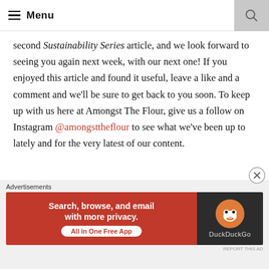Menu
second Sustainability Series article, and we look forward to seeing you again next week, with our next one! If you enjoyed this article and found it useful, leave a like and a comment and we'll be sure to get back to you soon. To keep up with us here at Amongst The Flour, give us a follow on Instagram @amongsttheflour to see what we've been up to lately and for the very latest of our content.
Katherine x
[Figure (screenshot): DuckDuckGo advertisement banner: 'Search, browse, and email with more privacy. All in One Free App' on orange background with DuckDuckGo logo on dark background]